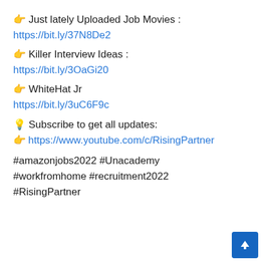👉 Just lately Uploaded Job Movies : https://bit.ly/37N8De2
👉 Killer Interview Ideas : https://bit.ly/3OaGi20
👉 WhiteHat Jr https://bit.ly/3uC6F9c
💡 Subscribe to get all updates: 👉 https://www.youtube.com/c/RisingPartner
#amazonjobs2022 #Unacademy #workfromhome #recruitment2022 #RisingPartner